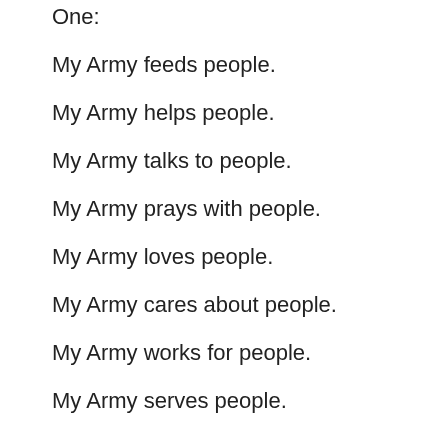One:
My Army feeds people.
My Army helps people.
My Army talks to people.
My Army prays with people.
My Army loves people.
My Army cares about people.
My Army works for people.
My Army serves people.